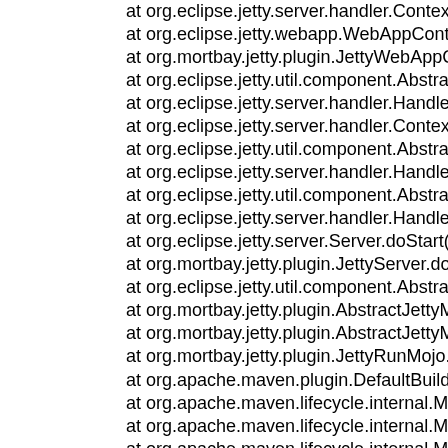at org.eclipse.jetty.server.handler.ContextHandler.doStart(Contex
 at org.eclipse.jetty.webapp.WebAppContext.doStart(WebAppCon
 at org.mortbay.jetty.plugin.JettyWebAppContext.doStart(JettyWeb
 at org.eclipse.jetty.util.component.AbstractLifeCycle.start(Abstrac
 at org.eclipse.jetty.server.handler.HandlerCollection.doStart(Hand
 at org.eclipse.jetty.server.handler.ContextHandlerCollection.doSta
 at org.eclipse.jetty.util.component.AbstractLifeCycle.start(Abstrac
 at org.eclipse.jetty.server.handler.HandlerCollection.doStart(Hand
 at org.eclipse.jetty.util.component.AbstractLifeCycle.start(Abstrac
 at org.eclipse.jetty.server.handler.HandlerWrapper.doStart(Handle
 at org.eclipse.jetty.server.Server.doStart(Server.java:277)
 at org.mortbay.jetty.plugin.JettyServer.doStart(JettyServer.java:65
 at org.eclipse.jetty.util.component.AbstractLifeCycle.start(Abstrac
 at org.mortbay.jetty.plugin.AbstractJettyMojo.startJetty(AbstractJe
 at org.mortbay.jetty.plugin.AbstractJettyMojo.execute(AbstractJet
 at org.mortbay.jetty.plugin.JettyRunMojo.execute(JettyRunMojo.ja
 at org.apache.maven.plugin.DefaultBuildPluginManager.executeM
 at org.apache.maven.lifecycle.internal.MojoExecutor.execute(Moj
 at org.apache.maven.lifecycle.internal.MojoExecutor.execute(Moj
 at org.apache.maven.lifecycle.internal.MojoExecutor.execute(Moj
 at org.apache.maven.lifecycle.internal.LifecycleModuleBuilder.bu
 at org.apache.maven.lifecycle.internal.LifecycleModuleBuilder.bu